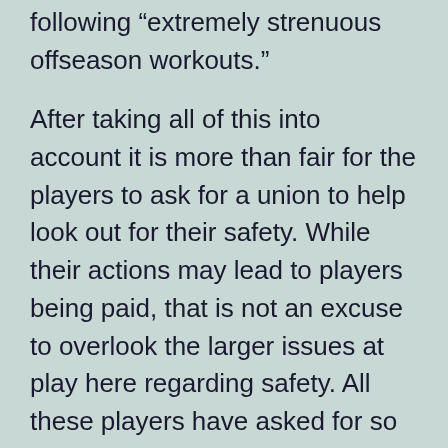following “extremely strenuous offseason workouts.”
After taking all of this into account it is more than fair for the players to ask for a union to help look out for their safety. While their actions may lead to players being paid, that is not an excuse to overlook the larger issues at play here regarding safety. All these players have asked for so far is the right to form a union. We have not seen them demanding a salary or a percentage of TV revenues and anyone saying that money is their true motive